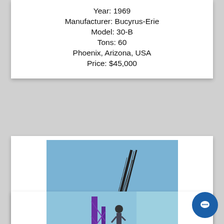Year: 1969
Manufacturer: Bucyrus-Erie
Model: 30-B
Tons: 60
Phoenix, Arizona, USA
Price: $45,000
[Figure (photo): Photo of a crane truck (Link-Belt HC-238H) parked in an industrial area against a blue sky]
Year: 1999
Manufacturer: Link-Belt
Model: HC-238H
Tons: 150
Colorado, USA
Price: $383,900
[Figure (photo): Partial photo of another crane at the bottom of the page]